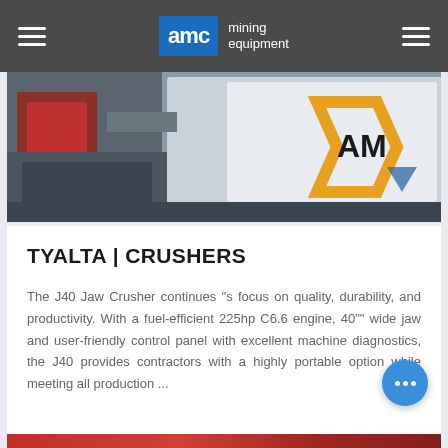AMC mining equipment
[Figure (photo): Mining crusher equipment with AMC branding visible on white machine body, industrial setting]
TYALTA | CRUSHERS
The J40 Jaw Crusher continues "s focus on quality, durability, and productivity. With a fuel-efficient 225hp C6.6 engine, 40"" wide jaw and user-friendly control panel with excellent machine diagnostics, the J40 provides contractors with a highly portable option while meeting all production ...